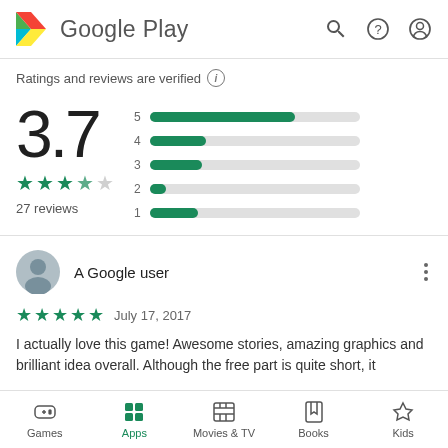Google Play
Ratings and reviews are verified
[Figure (bar-chart): Rating distribution]
3.7
27 reviews
A Google user
July 17, 2017
I actually love this game! Awesome stories, amazing graphics and brilliant idea overall. Although the free part is quite short, it